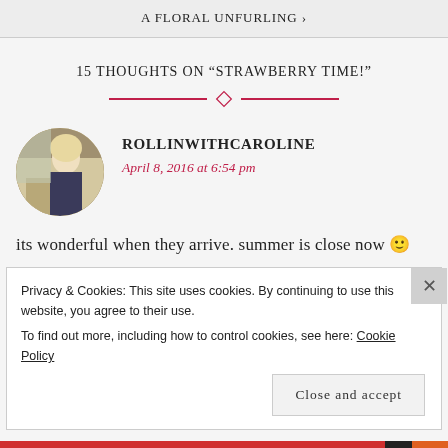A FLORAL UNFURLING >
15 THOUGHTS ON “STRAWBERRY TIME!”
ROLLINWITHCAROLINE
April 8, 2016 at 6:54 pm
its wonderful when they arrive. summer is close now 🙂
Privacy & Cookies: This site uses cookies. By continuing to use this website, you agree to their use.
To find out more, including how to control cookies, see here: Cookie Policy
Close and accept